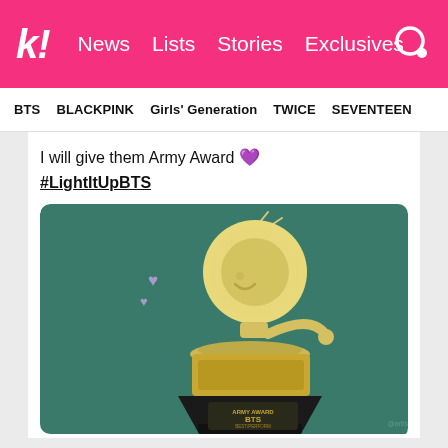k! News  Lists  Stories  Exclusives
BTS  BLACKPINK  Girls' Generation  TWICE  SEVENTEEN
I will give them Army Award 💜 #LightItUpBTS
[Figure (illustration): Cute illustrated Grammy award trophy with a smiley face and purple hearts, labeled 'ARMY AWARD BTS' on a dark base, on a dark teal/green background]